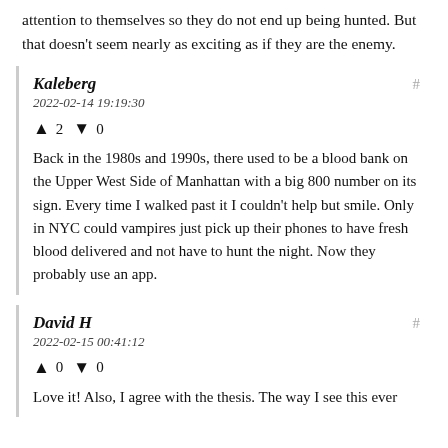attention to themselves so they do not end up being hunted. But that doesn't seem nearly as exciting as if they are the enemy.
Kaleberg
2022-02-14 19:19:30
▲ 2 ▼ 0
Back in the 1980s and 1990s, there used to be a blood bank on the Upper West Side of Manhattan with a big 800 number on its sign. Every time I walked past it I couldn't help but smile. Only in NYC could vampires just pick up their phones to have fresh blood delivered and not have to hunt the night. Now they probably use an app.
David H
2022-02-15 00:41:12
▲ 0 ▼ 0
Love it! Also, I agree with the thesis. The way I see this ever